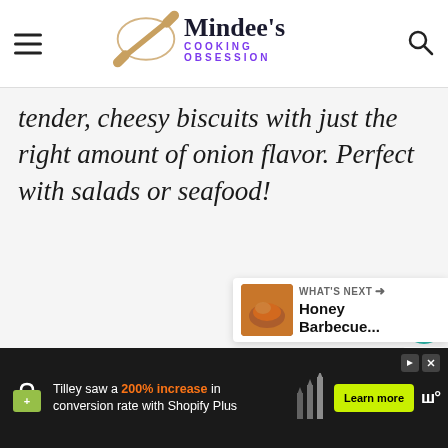Mindee's Cooking Obsession
tender, cheesy biscuits with just the right amount of onion flavor. Perfect with salads or seafood!
[Figure (infographic): Heart/like button showing teal circle with heart icon, count of 600, and share button below]
[Figure (infographic): What's Next panel showing thumbnail of food and text 'Honey Barbecue...']
[Figure (infographic): Advertisement bar: Shopify Plus ad - Tilley saw a 200% increase in conversion rate with Shopify Plus. Learn more button. Dark background.]